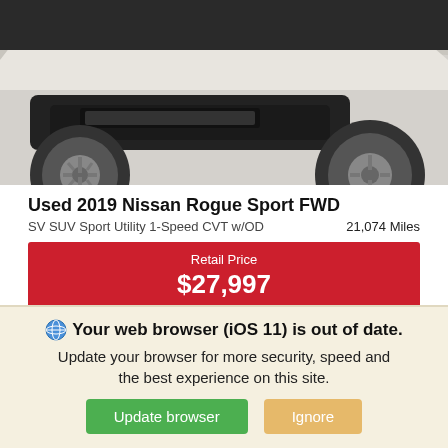[Figure (photo): Partial front view of a white/beige 2019 Nissan Rogue Sport FWD SUV showing the lower front bumper and wheel area against a light background]
Used 2019 Nissan Rogue Sport FWD
SV SUV Sport Utility 1-Speed CVT w/OD    21,074 Miles
Retail Price
$27,997
*First Name  *Last Name
*Email
Phone
🌐 Your web browser (iOS 11) is out of date.
Update your browser for more security, speed and the best experience on this site.
[Update browser] [Ignore]